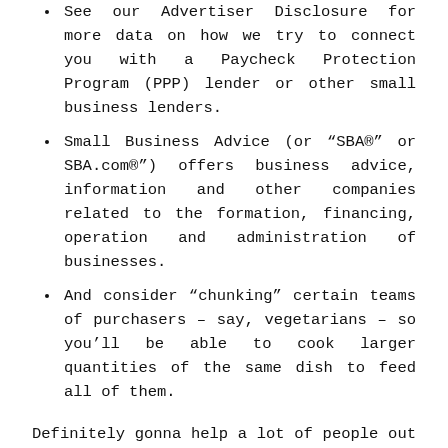See our Advertiser Disclosure for more data on how we try to connect you with a Paycheck Protection Program (PPP) lender or other small business lenders.
Small Business Advice (or “SBA®” or SBA.com®”) offers business advice, information and other companies related to the formation, financing, operation and administration of businesses.
And consider “chunking” certain teams of purchasers – say, vegetarians – so you’ll be able to cook larger quantities of the same dish to feed all of them.
Definitely gonna help a lot of people out there who are nonetheless seeking a business idea to begin at their own. Strike up a conversation with individuals who at present operate the business sorts on your short listing.